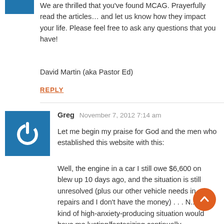[Figure (illustration): Blue square avatar with no visible icon, partially cut off at top]
We are thrilled that you've found MCAG. Prayerfully read the articles… and let us know how they impact your life. Please feel free to ask any questions that you have!
David Martin (aka Pastor Ed)
REPLY
[Figure (illustration): Blue square avatar with white power/on button icon]
Greg  November 7, 2012 7:14 am
Let me begin my praise for God and the men who established this website with this:
Well, the engine in a car I still owe $6,600 on blew up 10 days ago, and the situation is still unresolved (plus our other vehicle needs in repairs and I don't have the money) . . . N..., this kind of high-anxiety-producing situation would have me lusting/fantasizing continually, about esca... from something. But ...